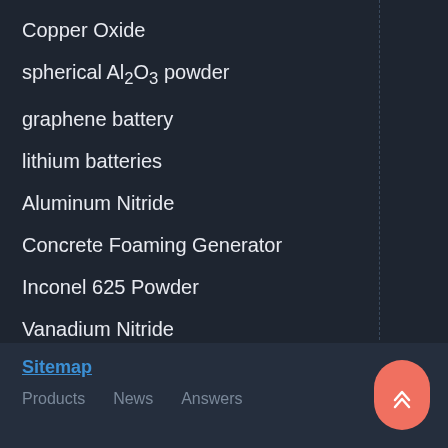Copper Oxide
spherical Al2O3 powder
graphene battery
lithium batteries
Aluminum Nitride
Concrete Foaming Generator
Inconel 625 Powder
Vanadium Nitride
Nitinol Powder
Sitemap  Products  News  Answers